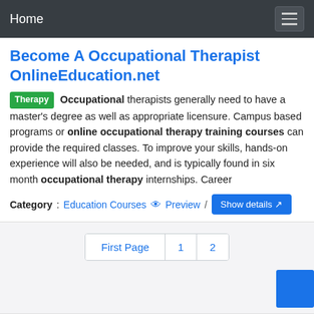Home
Become A Occupational Therapist OnlineEducation.net
Therapy Occupational therapists generally need to have a master's degree as well as appropriate licensure. Campus based programs or online occupational therapy training courses can provide the required classes. To improve your skills, hands-on experience will also be needed, and is typically found in six month occupational therapy internships. Career
Category: Education Courses  Preview /  Show details
First Page  1  2
Please leave your comments here: